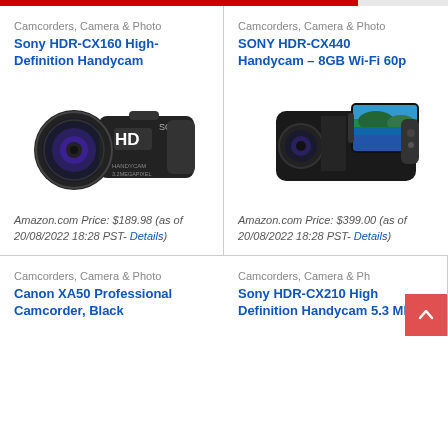Camcorders, Camera & Photo
Sony HDR-CX160 High-Definition Handycam
[Figure (photo): Sony HDR-CX160 High-Definition Handycam black camcorder with HD label and SONY branding]
Amazon.com Price: $189.98 (as of 20/08/2022 18:28 PST- Details)
Camcorders, Camera & Photo
SONY HDR-CX440 Handycam – 8GB Wi-Fi 60p
[Figure (photo): Sony HDR-CX440 Handycam black camcorder with open LCD screen showing landscape]
Amazon.com Price: $399.00 (as of 20/08/2022 18:28 PST- Details)
Camcorders, Camera & Photo
Canon XA50 Professional Camcorder, Black
Camcorders, Camera & Photo
Sony HDR-CX210 High Definition Handycam 5.3 MP